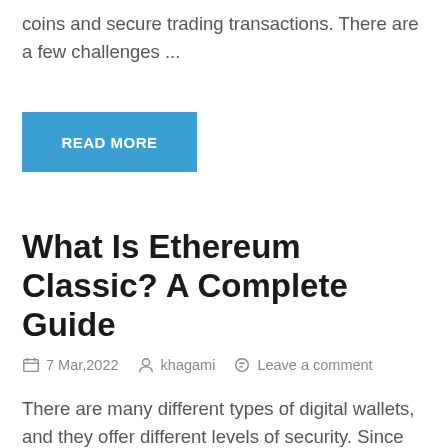coins and secure trading transactions. There are a few challenges ...
READ MORE
What Is Ethereum Classic? A Complete Guide
7 Mar,2022   khagami   Leave a comment
There are many different types of digital wallets, and they offer different levels of security. Since